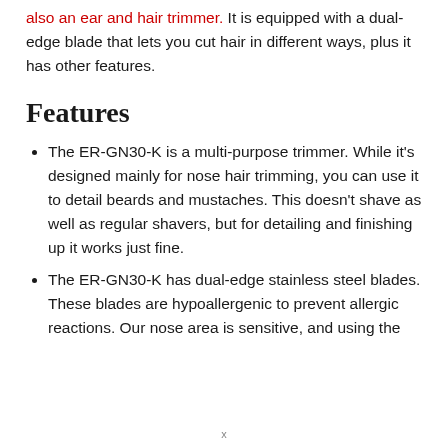also an ear and hair trimmer. It is equipped with a dual-edge blade that lets you cut hair in different ways, plus it has other features.
Features
The ER-GN30-K is a multi-purpose trimmer. While it's designed mainly for nose hair trimming, you can use it to detail beards and mustaches. This doesn't shave as well as regular shavers, but for detailing and finishing up it works just fine.
The ER-GN30-K has dual-edge stainless steel blades. These blades are hypoallergenic to prevent allergic reactions. Our nose area is sensitive, and using the
x